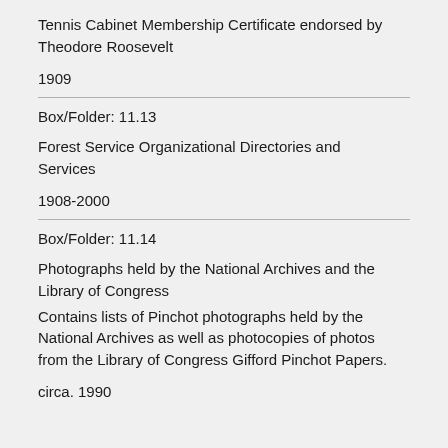Tennis Cabinet Membership Certificate endorsed by Theodore Roosevelt
1909
Box/Folder: 11.13
Forest Service Organizational Directories and Services
1908-2000
Box/Folder: 11.14
Photographs held by the National Archives and the Library of Congress
Contains lists of Pinchot photographs held by the National Archives as well as photocopies of photos from the Library of Congress Gifford Pinchot Papers.
circa. 1990